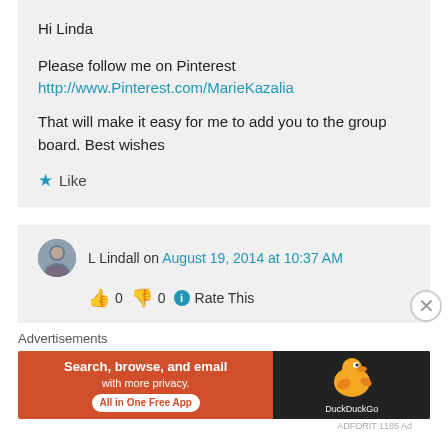Hi Linda

Please follow me on Pinterest
http://www.Pinterest.com/MarieKazalia

That will make it easy for me to add you to the group board. Best wishes
Like
L Lindall on August 19, 2014 at 10:37 AM
0  0  Rate This
Advertisements
[Figure (screenshot): DuckDuckGo advertisement banner: orange section with text 'Search, browse, and email with more privacy. All in One Free App', dark section with DuckDuckGo duck logo and text 'DuckDuckGo']